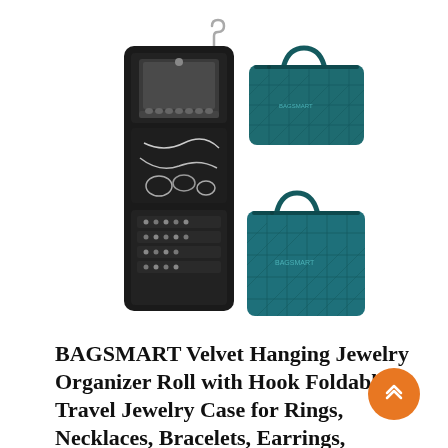[Figure (photo): Product photo of BAGSMART Velvet Hanging Jewelry Organizer Roll in Peacock Blue. Shows the organizer open and laid flat (left side) with a hook at top, displaying multiple compartments with jewelry inside, and two views of the bag closed (right side, top and bottom) showing the quilted teal/peacock blue exterior with handles.]
BAGSMART Velvet Hanging Jewelry Organizer Roll with Hook Foldable Travel Jewelry Case for Rings, Necklaces, Bracelets, Earrings, Peacock Blue